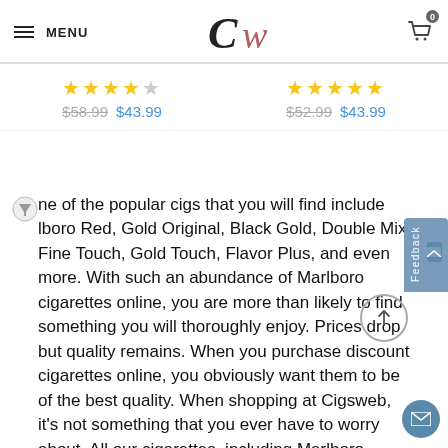MENU | CW logo | Cart (0)
★★★★½  $58.99  $43.99  |  ★★★★★  $52.99  $43.99
ne of the popular cigs that you will find include lboro Red, Gold Original, Black Gold, Double Mix, Fine Touch, Gold Touch, Flavor Plus, and even more. With such an abundance of Marlboro cigarettes online, you are more than likely to find something you will thoroughly enjoy. Prices drop but quality remains. When you purchase discount cigarettes online, you obviously want them to be of the best quality. When shopping at Cigsweb, it's not something that you ever have to worry about. All our cigarettes, including Marlboro, come directly from the manufacturers and